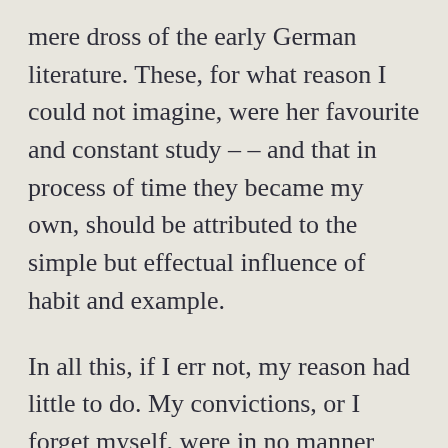mere dross of the early German literature. These, for what reason I could not imagine, were her favourite and constant study – – and that in process of time they became my own, should be attributed to the simple but effectual influence of habit and example.
In all this, if I err not, my reason had little to do. My convictions, or I forget myself, were in no manner acted upon by the ideal, nor was any tincture of the mysticism which I read to be discovered, unless I am greatly mistaken, either in my